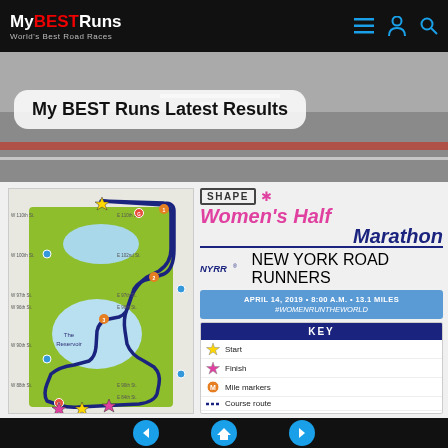My BEST Runs — World's Best Road Races
My BEST Runs Latest Results
[Figure (map): Central Park race course map for SHAPE Women's Half Marathon, showing the route through Central Park with mile markers, water stations, and other race amenities marked.]
[Figure (logo): SHAPE Women's Half Marathon logo with NYRR New York Road Runners branding]
APRIL 14, 2019 • 8:00 A.M. • 13.1 MILES #WOMENRUNTHEWORLD
| Icon | Label |
| --- | --- |
| star icon | Start |
| star icon (pink) | Finish |
| circle M icon | Mile markers |
| dashed line | Course route |
| water icon | Water stations |
| Gatorade icon | Gatorade® Endurance Formula |
| toilet icon | Toilets |
| cross icon | Medical aid |
Navigation: previous, home, next